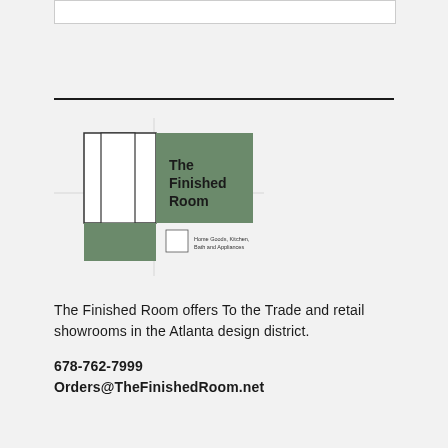[Figure (logo): The Finished Room logo with geometric squares in sage green and white, with text 'The Finished Room' and subtitle 'Home Goods, Kitchen, Bath and Appliances']
The Finished Room offers To the Trade and retail showrooms in the Atlanta design district.
678-762-7999
Orders@TheFinishedRoom.net